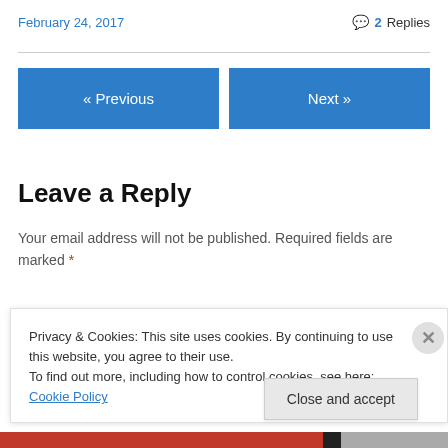February 24, 2017
2 Replies
« Previous
Next »
Leave a Reply
Your email address will not be published. Required fields are marked *
Comment *
Privacy & Cookies: This site uses cookies. By continuing to use this website, you agree to their use.
To find out more, including how to control cookies, see here: Cookie Policy
Close and accept